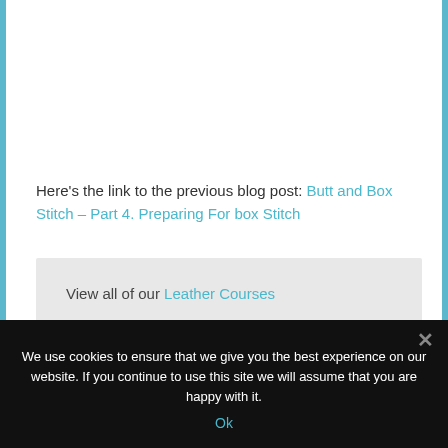Here's the link to the previous blog post: Butt and Box Stitch – Part 4. Preparing For box Stitch
View all of our Leather Courses
We use cookies to ensure that we give you the best experience on our website. If you continue to use this site we will assume that you are happy with it.
Ok